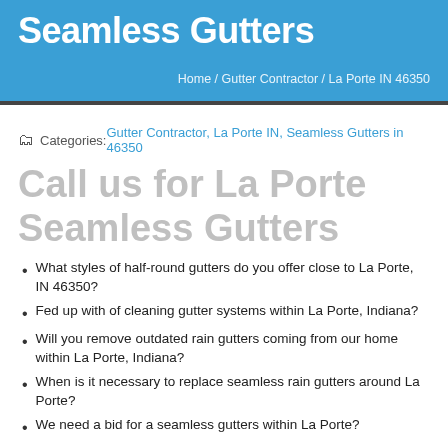Seamless Gutters
Home / Gutter Contractor / La Porte IN 46350
Categories: Gutter Contractor, La Porte IN, Seamless Gutters in 46350
Call us for La Porte Seamless Gutters
What styles of half-round gutters do you offer close to La Porte, IN 46350?
Fed up with of cleaning gutter systems within La Porte, Indiana?
Will you remove outdated rain gutters coming from our home within La Porte, Indiana?
When is it necessary to replace seamless rain gutters around La Porte?
We need a bid for a seamless gutters within La Porte?